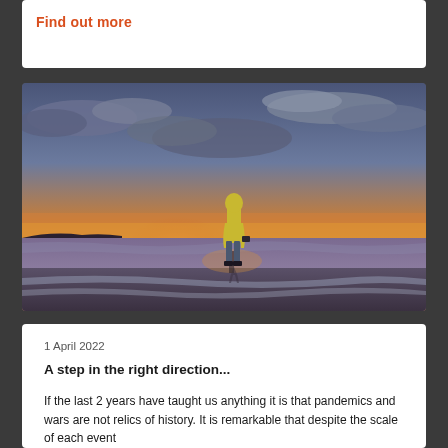Find out more
[Figure (photo): Person standing on a beach at sunset wearing a yellow jacket and holding a camera, viewed from behind, with dramatic cloudy sky and golden/purple sunset light reflecting on wet sand and gentle waves.]
1 April 2022
A step in the right direction...
If the last 2 years have taught us anything it is that pandemics and wars are not relics of history. It is remarkable that despite the scale of each event